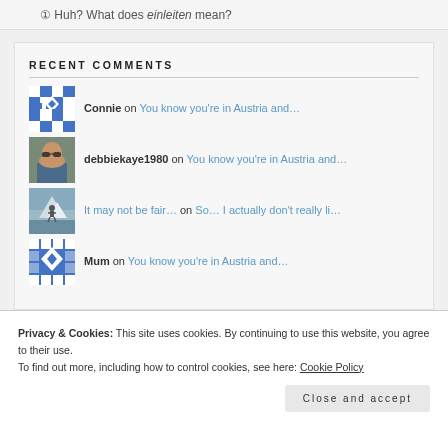Huh? What does einleiten mean?
RECENT COMMENTS
Connie on You know you're in Austria and…
debbiekaye1980 on You know you're in Austria and…
It may not be fair… on So… I actually don't really li…
Mum on You know you're in Austria and…
Privacy & Cookies: This site uses cookies. By continuing to use this website, you agree to their use.
To find out more, including how to control cookies, see here: Cookie Policy
Close and accept